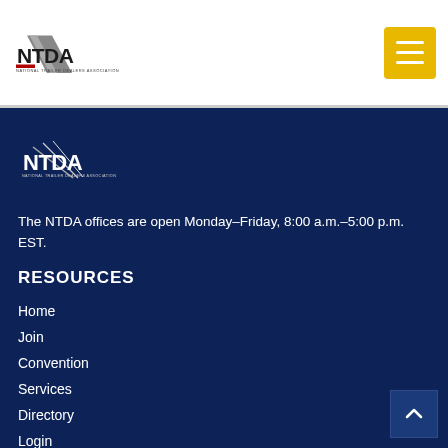[Figure (logo): NTDA National Trailer Dealers Association logo in header]
[Figure (logo): Menu/hamburger button with gold background]
[Figure (logo): NTDA National Trailer Dealers Association logo in footer (white version)]
The NTDA offices are open Monday–Friday, 8:00 a.m.–5:00 p.m. EST.
RESOURCES
Home
Join
Convention
Services
Directory
Login
News